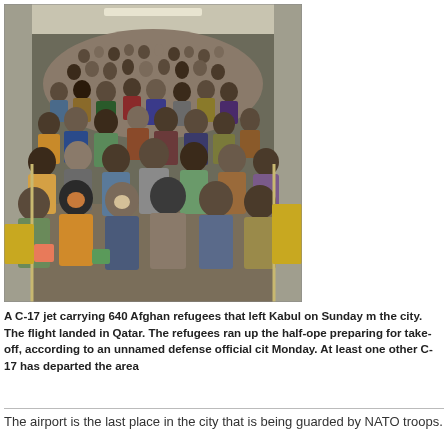[Figure (photo): Interior of a C-17 military cargo jet packed with hundreds of Afghan refugees sitting densely on the floor of the aircraft, viewed from the rear looking toward the front.]
A C-17 jet carrying 640 Afghan refugees that left Kabul on Sunday making it out of the city. The flight landed in Qatar. The refugees ran up the half-open ramp as it was preparing for take-off, according to an unnamed defense official cited by the media on Monday. At least one other C-17 has departed the area
The airport is the last place in the city that is being guarded by NATO troops.